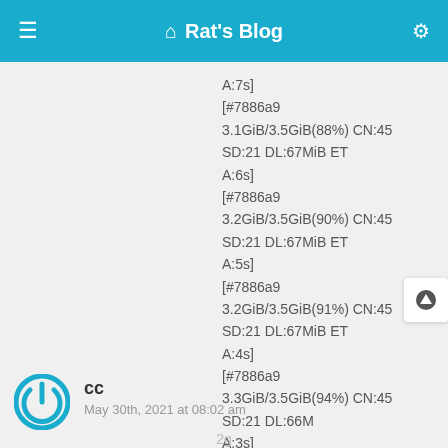Rat's Blog
A:7s]
[#7886a9 3.1GiB/3.5GiB(88%) CN:45 SD:21 DL:67MiB ETA:6s]
[#7886a9 3.2GiB/3.5GiB(90%) CN:45 SD:21 DL:67MiB ETA:5s]
[#7886a9 3.2GiB/3.5GiB(91%) CN:45 SD:21 DL:67MiB ETA:4s]
[#7886a9 3.3GiB/3.5GiB(94%) CN:45 SD:21 DL:66M A:3s]
[#7886a9 3.4GiB/3.5GiB(96%) CN:45 SD:21 DL:78MiB ETA:1s]
[#7886a9 3.5GiB/3.5GiB(98%) CN:45 SD:21 DL:79MiB]

06/21 03:01:01 [    1;32mNOTICE    [0m] Serialized session to '/root/.aria2/aria2.session' successfully.
cc
May 30th, 2021 at 08:02 am